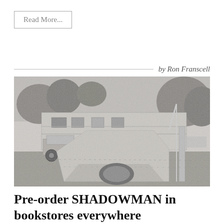Read More...
by Ron Franscell
[Figure (photo): Black and white vintage photograph showing a large tent or canvas structure erected outdoors on grass, with a trailer or mobile home and an old automobile visible in the background, surrounded by trees.]
Pre-order SHADOWMAN in bookstores everywhere